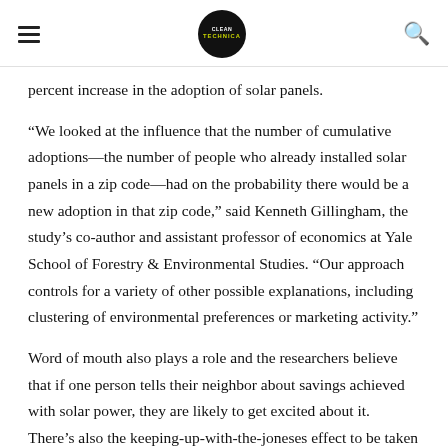[Hamburger menu] [CleanTechnica logo] [Search icon]
percent increase in the adoption of solar panels.
“We looked at the influence that the number of cumulative adoptions—the number of people who already installed solar panels in a zip code—had on the probability there would be a new adoption in that zip code,” said Kenneth Gillingham, the study’s co-author and assistant professor of economics at Yale School of Forestry & Environmental Studies. “Our approach controls for a variety of other possible explanations, including clustering of environmental preferences or marketing activity.”
Word of mouth also plays a role and the researchers believe that if one person tells their neighbor about savings achieved with solar power, they are likely to get excited about it. There’s also the keeping-up-with-the-joneses effect to be taken into account.